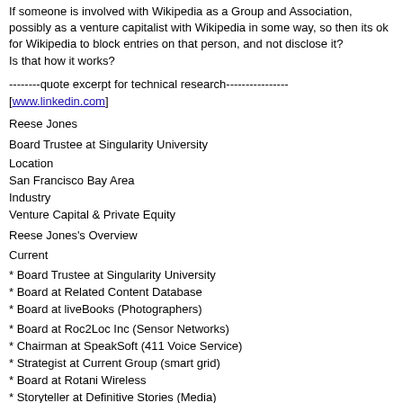If someone is involved with Wikipedia as a Group and Association, possibly as a venture capitalist with Wikipedia in some way, so then its ok for Wikipedia to block entries on that person, and not disclose it? Is that how it works?
--------quote excerpt for technical research---------------- [www.linkedin.com]
Reese Jones
Board Trustee at Singularity University
Location
San Francisco Bay Area
Industry
Venture Capital & Private Equity
Reese Jones's Overview
Current
* Board Trustee at Singularity University
* Board at Related Content Database
* Board at liveBooks (Photographers)
* Board at Roc2Loc Inc (Sensor Networks)
* Chairman at SpeakSoft (411 Voice Service)
* Strategist at Current Group (smart grid)
* Board at Rotani Wireless
* Storyteller at Definitive Stories (Media)
* Partner at Definitive Partners
* Board at Chabot Space & Science Center